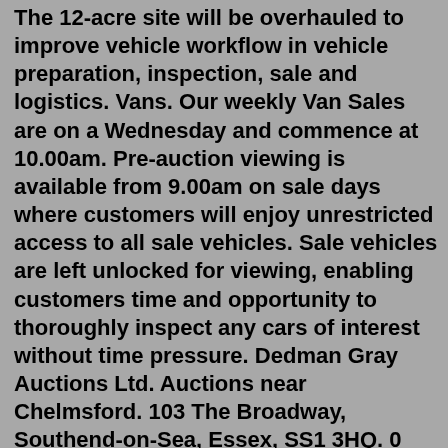The 12-acre site will be overhauled to improve vehicle workflow in vehicle preparation, inspection, sale and logistics. Vans. Our weekly Van Sales are on a Wednesday and commence at 10.00am. Pre-auction viewing is available from 9.00am on sale days where customers will enjoy unrestricted access to all sale vehicles. Sale vehicles are left unlocked for viewing, enabling customers time and opportunity to thoroughly inspect any cars of interest without time pressure. Dedman Gray Auctions Ltd. Auctions near Chelmsford. 103 The Broadway, Southend-on-Sea, Essex, SS1 3HQ. 0 Reviews 18.8 Miles. Found 7 businesses. Browse Car Auctions in Chelmsford, Essex featuring photos, videos, special offers and testimonials to help you choose the right local Car Auctions for you. × This website uses cookies, which cannot be used to personally identify you. Browse Car Auctions in Chelmsford, Essex featuring photos, videos, special offers and testimonials to help you choose the right local Car Auctions for you. × This